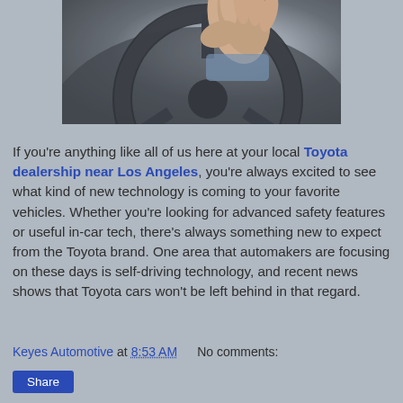[Figure (photo): Close-up photo of a person's hand gripping a car steering wheel, shot from driver's perspective with blue-grey tones.]
If you're anything like all of us here at your local Toyota dealership near Los Angeles, you're always excited to see what kind of new technology is coming to your favorite vehicles. Whether you're looking for advanced safety features or useful in-car tech, there's always something new to expect from the Toyota brand. One area that automakers are focusing on these days is self-driving technology, and recent news shows that Toyota cars won't be left behind in that regard.
Keyes Automotive at 8:53 AM   No comments:
Share